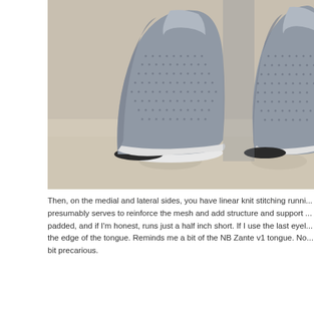[Figure (photo): Close-up photo of two grey knit running shoes (toes side by side) on a wooden/concrete surface, showing the mesh upper and white midsole edges.]
Then, on the medial and lateral sides, you have linear knit stitching runni... presumably serves to reinforce the mesh and add structure and support ... padded, and if I'm honest, runs just a half inch short. If I use the last eyel... the edge of the tongue. Reminds me a bit of the NB Zante v1 tongue. No... bit precarious.